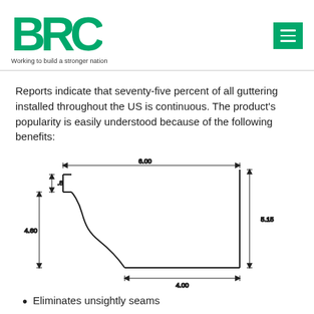BRC - Working to build a stronger nation
Reports indicate that seventy-five percent of all guttering installed throughout the US is continuous. The product's popularity is easily understood because of the following benefits:
[Figure (engineering-diagram): Cross-section schematic of a continuous gutter profile with dimensions: 6.00 width at top, 4.00 width at bottom, 4.60 height on left side, 5.15 height on right side, .8 dimension at top-left detail. The profile shows the K-style gutter cross-section with a curved front face and stepped back.]
Eliminates unsightly seams